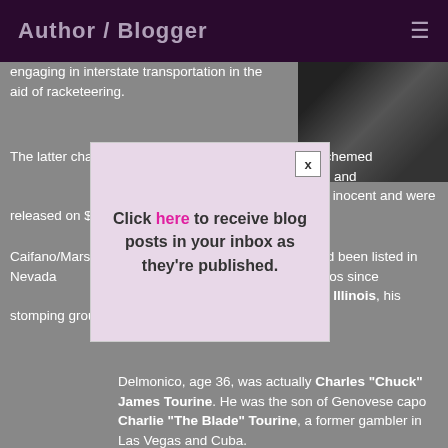Author / Blogger
engaging in interstate transportation in the aid of racketeering.
The latter charge was because the two supposedly schemed Caifano/Marshall commit the crime and carrying it out in Nevada inocent and were released on $20,000 b 5,000 today).
Caifano/Marshall (born aifano), age 54, had been listed in Nevada ae non gratae in the state's casinos since uspect in several murders in Chicago, Illinois, his stomping grounds before Las Vegas.
[Figure (photo): Black and white photo of a person, top right corner]
Delmonico, age 36, was actually Charles "Chuck" James Tourine. He was the son of Genovese capo Charlie "The Blade" Tourine, a former gambler in Las Vegas and Cuba.